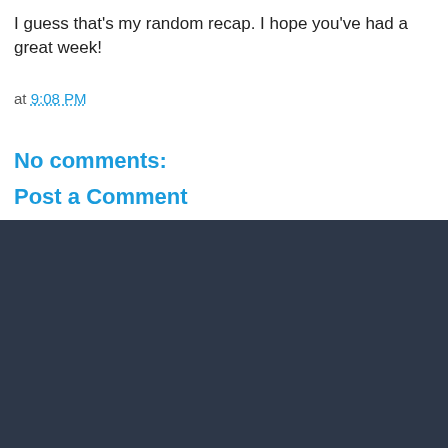I guess that's my random recap. I hope you've had a great week!
at 9:08 PM
No comments:
Post a Comment
‹  Home  ›  View web version